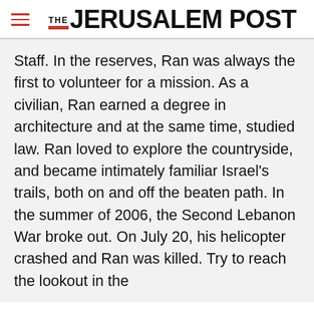THE JERUSALEM POST
Staff. In the reserves, Ran was always the first to volunteer for a mission. As a civilian, Ran earned a degree in architecture and at the same time, studied law. Ran loved to explore the countryside, and became intimately familiar Israel's trails, both on and off the beaten path. In the summer of 2006, the Second Lebanon War broke out. On July 20, his helicopter crashed and Ran was killed. Try to reach the lookout in the
Advertisement